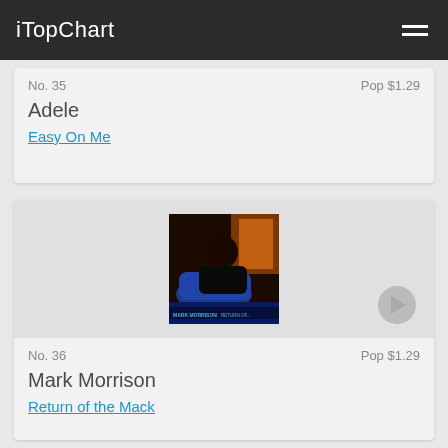iTopChart
No. 35    Pop $1.29
Adele
Easy On Me
[Figure (photo): Album cover for Mark Morrison - Return of the Mack, showing a person in a blue chair in a dimly lit room]
No. 36    Pop $1.29
Mark Morrison
Return of the Mack